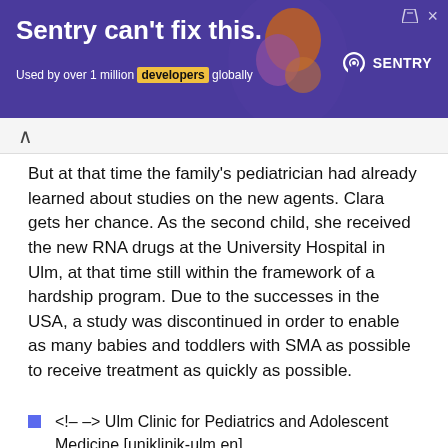[Figure (screenshot): Purple advertisement banner for Sentry. Text reads 'Sentry can't fix this.' and 'Used by over 1 million developers globally'. Sentry logo visible on the right with decorative illustration.]
But at that time the family's pediatrician had already learned about studies on the new agents. Clara gets her chance. As the second child, she received the new RNA drugs at the University Hospital in Ulm, at that time still within the framework of a hardship program. Due to the successes in the USA, a study was discontinued in order to enable as many babies and toddlers with SMA as possible to receive treatment as quickly as possible.
<!-- –> Ulm Clinic for Pediatrics and Adolescent Medicine [uniklinik-ulm.en]
Successful: pilot project for newborn screening in SMA
In March 2018, little Matthias is born. He also has SMA type